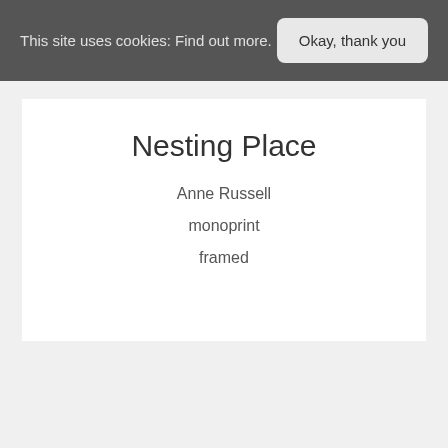This site uses cookies: Find out more.
Okay, thank you
Nesting Place
Anne Russell
monoprint
framed